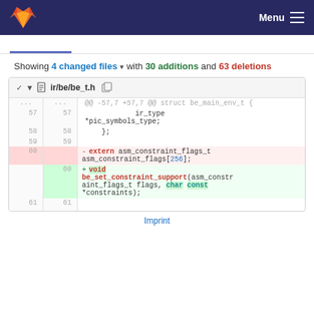Menu
Showing 4 changed files with 30 additions and 63 deletions
[Figure (screenshot): GitLab diff view for ir/be/be_t.h showing removal of 'extern asm_constraint_flags_t asm_constraint_flags[256];' and addition of 'void be_set_constraint_support(asm_constraint_flags_t flags, char const *constraints);']
Imprint